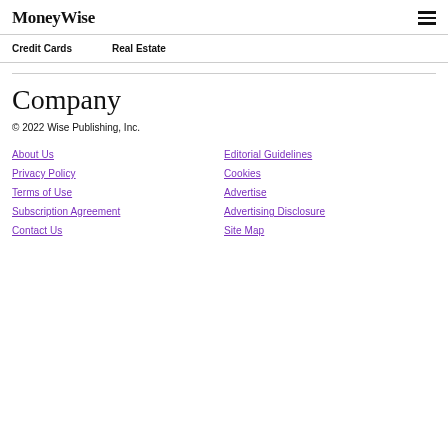MoneyWise
Credit Cards
Real Estate
Company
© 2022 Wise Publishing, Inc.
About Us
Editorial Guidelines
Privacy Policy
Cookies
Terms of Use
Advertise
Subscription Agreement
Advertising Disclosure
Contact Us
Site Map